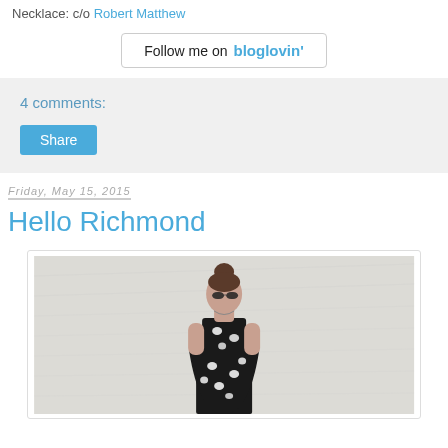Necklace: c/o Robert Matthew
[Figure (other): Follow me on bloglovin' button/banner]
4 comments:
Share
Friday, May 15, 2015
Hello Richmond
[Figure (photo): A young woman wearing a black dress with white cat print pattern, sunglasses, hair up in a bun, standing against a white painted brick wall.]